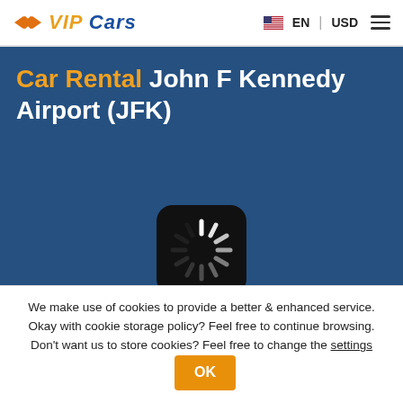VIP Cars — EN | USD
Car Rental John F Kennedy Airport (JFK)
[Figure (other): Loading spinner icon — black rounded square with white radiating lines]
We make use of cookies to provide a better & enhanced service. Okay with cookie storage policy? Feel free to continue browsing. Don't want us to store cookies? Feel free to change the settings